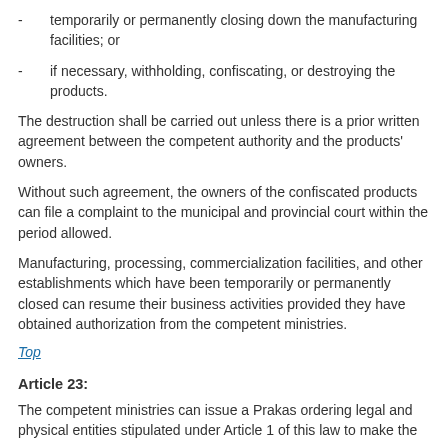- temporarily or permanently closing down the manufacturing facilities; or
- if necessary, withholding, confiscating, or destroying the products.
The destruction shall be carried out unless there is a prior written agreement between the competent authority and the products' owners.
Without such agreement, the owners of the confiscated products can file a complaint to the municipal and provincial court within the period allowed.
Manufacturing, processing, commercialization facilities, and other establishments which have been temporarily or permanently closed can resume their business activities provided they have obtained authorization from the competent ministries.
Top
Article 23:
The competent ministries can issue a Prakas ordering legal and physical entities stipulated under Article 1 of this law to make the